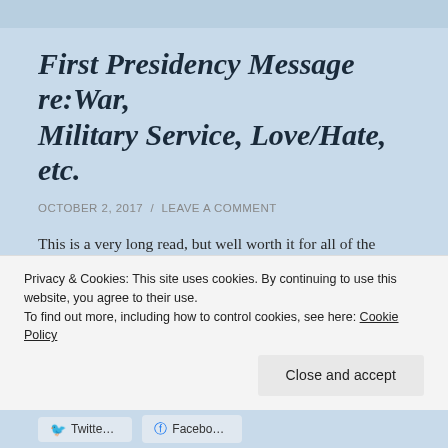First Presidency Message re:War, Military Service, Love/Hate, etc.
OCTOBER 2, 2017 / LEAVE A COMMENT
This is a very long read, but well worth it for all of the ground it covers. A message from the First Presidency of The Church of Jesus Christ of Latter-day Saints, delivered by President J. Reuben Clark, JR. in the
Privacy & Cookies: This site uses cookies. By continuing to use this website, you agree to their use.
To find out more, including how to control cookies, see here: Cookie Policy
Close and accept